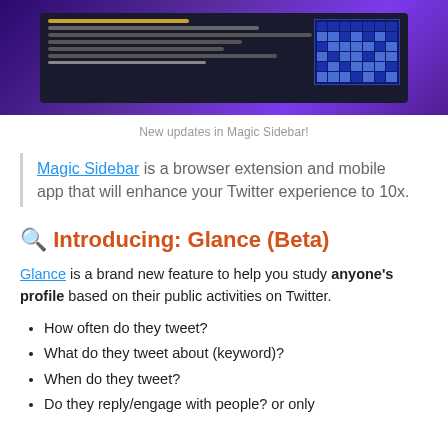[Figure (screenshot): Screenshot of Magic Sidebar browser extension interface showing a dark UI with text lines and a calendar/grid view on a purple gradient background]
New updates in Magic Sidebar!
Magic Sidebar is a browser extension and mobile app that will enhance your Twitter experience to 10x.
🔍 Introducing: Glance (Beta)
Glance is a brand new feature to help you study anyone's profile based on their public activities on Twitter.
How often do they tweet?
What do they tweet about (keyword)?
When do they tweet?
Do they reply/engage with people? or only